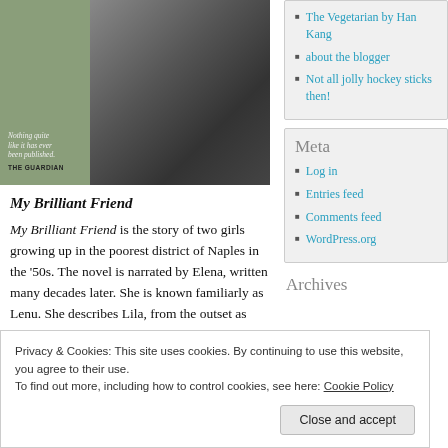[Figure (photo): Book cover of My Brilliant Friend with green panel on left showing a quote and 'THE GUARDIAN', and a black and white photograph of children on the right]
My Brilliant Friend
My Brilliant Friend is the story of two girls growing up in the poorest district of Naples in the '50s. The novel is narrated by Elena, written many decades later. She is known familiarly as Lenu. She describes Lila, from the outset as mean, selfish and very spirited. She is also clever, and she and Lenú are connected
The Vegetarian by Han Kang
about the blogger
Not all jolly hockey sticks then!
Meta
Log in
Entries feed
Comments feed
WordPress.org
Archives
Privacy & Cookies: This site uses cookies. By continuing to use this website, you agree to their use.
To find out more, including how to control cookies, see here: Cookie Policy
Close and accept